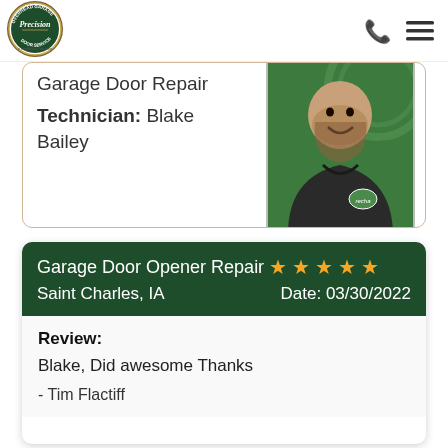[Figure (logo): Precision Door Service logo - circular emblem with 'Overhead Garage Door Service' text and 'a neighborly company' tagline below]
[Figure (other): Phone icon and hamburger menu icon in header]
Garage Door Repair
Technician: Blake Bailey
[Figure (photo): Photo of technician Blake Bailey wearing a dark hoodie with a Precision Door Service logo patch, smiling, against a green branded background]
Garage Door Opener Repair ★★★★★ Saint Charles, IA  Date: 03/30/2022
Review:
Blake, Did awesome Thanks
- Tim Flactiff